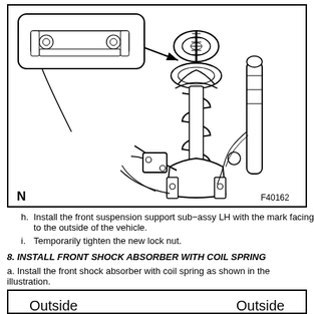[Figure (engineering-diagram): Technical illustration of front suspension support sub-assembly with coil spring and shock absorber. Shows a detail callout bubble at the top left with a close-up of a bracket component, connected by an arrow to the bearing on top of the strut assembly. Labels N (bottom-left) and F40162 (bottom-right) are visible inside the bordered box.]
h. Install the front suspension support sub-assy LH with the mark facing to the outside of the vehicle.
i. Temporarily tighten the new lock nut.
8. INSTALL FRONT SHOCK ABSORBER WITH COIL SPRING
a. Install the front shock absorber with coil spring as shown in the illustration.
[Figure (engineering-diagram): Bottom diagram box showing 'Outside' labels on left and right sides, partially visible, indicating orientation markers for the front shock absorber installation.]